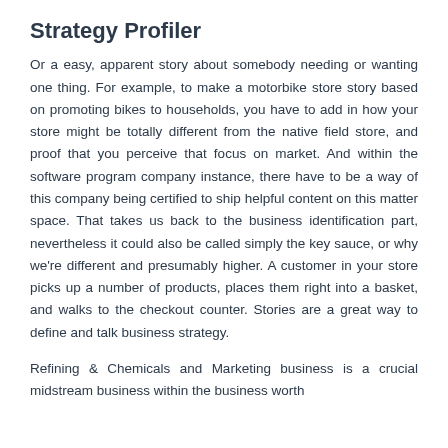Strategy Profiler
Or a easy, apparent story about somebody needing or wanting one thing. For example, to make a motorbike store story based on promoting bikes to households, you have to add in how your store might be totally different from the native field store, and proof that you perceive that focus on market. And within the software program company instance, there have to be a way of this company being certified to ship helpful content on this matter space. That takes us back to the business identification part, nevertheless it could also be called simply the key sauce, or why we're different and presumably higher. A customer in your store picks up a number of products, places them right into a basket, and walks to the checkout counter. Stories are a great way to define and talk business strategy.
Refining & Chemicals and Marketing business is a crucial midstream business within the business worth